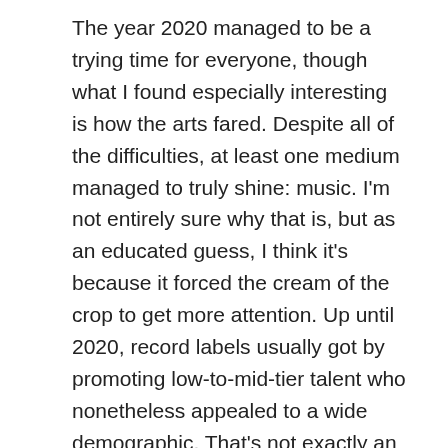The year 2020 managed to be a trying time for everyone, though what I found especially interesting is how the arts fared. Despite all of the difficulties, at least one medium managed to truly shine: music. I'm not entirely sure why that is, but as an educated guess, I think it's because it forced the cream of the crop to get more attention. Up until 2020, record labels usually got by promoting low-to-mid-tier talent who nonetheless appealed to a wide demographic. That's not exactly an option when the stadiums are closed, so only records sales were left as a primary source of income for labels. While the low-tier pop acts hardly had trouble moving units themselves, they found themselves having to compete on an even playing field with the far more talented indie acts at the time. Moreover, because music usually has fewer personnel behind its creation than, for example, films or video games, the pandemic didn't